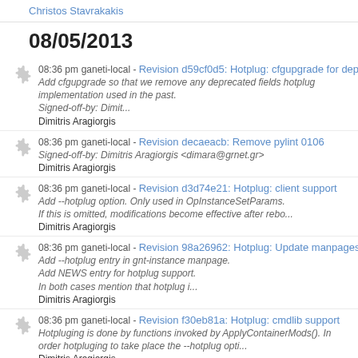Christos Stavrakakis
08/05/2013
08:36 pm ganeti-local - Revision d59cf0d5: Hotplug: cfgupgrade for deprecated fields
Add cfgupgrade so that we remove any deprecated fields hotplug implementation used in the past.
Signed-off-by: Dimit...
Dimitris Aragiorgis
08:36 pm ganeti-local - Revision decaeacb: Remove pylint 0106
Signed-off-by: Dimitris Aragiorgis <dimara@grnet.gr>
Dimitris Aragiorgis
08:36 pm ganeti-local - Revision d3d74e21: Hotplug: client support
Add --hotplug option. Only used in OpInstanceSetParams.
If this is omitted, modifications become effective after rebo...
Dimitris Aragiorgis
08:36 pm ganeti-local - Revision 98a26962: Hotplug: Update manpages and NEWS
Add --hotplug entry in gnt-instance manpage.
Add NEWS entry for hotplug support.
In both cases mention that hotplug i...
Dimitris Aragiorgis
08:36 pm ganeti-local - Revision f30eb81a: Hotplug: cmdlib support
Hotpluging is done by functions invoked by ApplyContainerMods(). In order hotpluging to take place the --hotplug opti...
Dimitris Aragiorgis
08:36 pm ganeti-local - Revision 3852473e: Hotplug: rpc support
Introduce new RPC that eventually invoke hypervisor specific hotplug functions. In order to be generic it has the fol...
Dimitris Aragiorgis